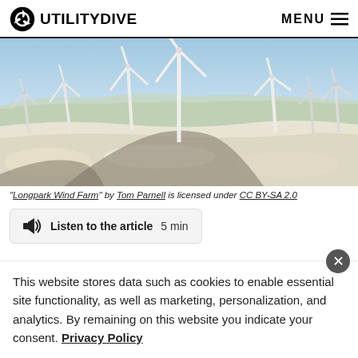UTILITY DIVE  MENU
[Figure (photo): Wind farm with multiple wind turbines on a snowy landscape under a clear blue sky (Longpark Wind Farm)]
"Longpark Wind Farm" by Tom Parnell is licensed under CC BY-SA 2.0
Listen to the article  5 min
This website stores data such as cookies to enable essential site functionality, as well as marketing, personalization, and analytics. By remaining on this website you indicate your consent. Privacy Policy